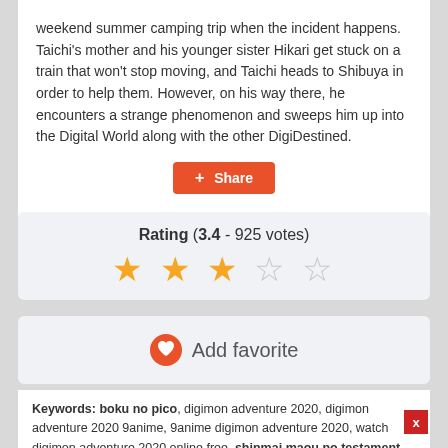weekend summer camping trip when the incident happens. Taichi's mother and his younger sister Hikari get stuck on a train that won't stop moving, and Taichi heads to Shibuya in order to help them. However, on his way there, he encounters a strange phenomenon and sweeps him up into the Digital World along with the other DigiDestined.
+ Share
Rating (3.4 - 925 votes)
[Figure (other): Star rating display: 3 filled orange stars and 2 empty stars indicating a rating of 3.4 out of 5]
Add favorite
Keywords: boku no pico, digimon adventure 2020, digimon adventure 2020 9anime, 9anime digimon adventure 2020, watch digimon adventure 2020 online free, shinmai maou no testament, masou gakuen hxh, kiss x sis